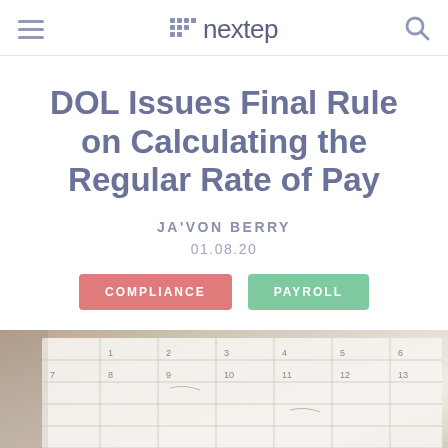nextep
DOL Issues Final Rule on Calculating the Regular Rate of Pay
JA'VON BERRY
01.08.20
COMPLIANCE
PAYROLL
[Figure (photo): Close-up photo of an open calendar/planner showing a monthly grid with dates and handwritten notes, laid on a wooden surface.]